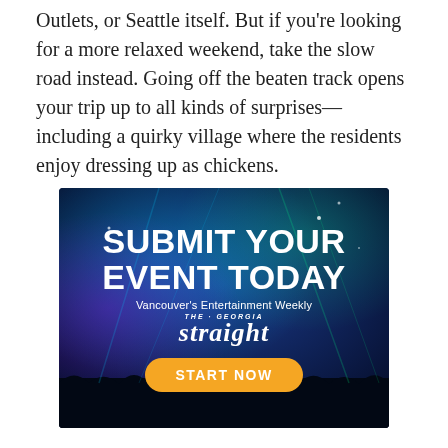Outlets, or Seattle itself. But if you're looking for a more relaxed weekend, take the slow road instead. Going off the beaten track opens your trip up to all kinds of surprises—including a quirky village where the residents enjoy dressing up as chickens.
[Figure (infographic): Advertisement for The Georgia Straight, Vancouver's Entertainment Weekly. Dark blue background with concert/event lighting effects and crowd silhouettes. Large bold white text reads 'SUBMIT YOUR EVENT TODAY'. Subtitle reads 'Vancouver's Entertainment Weekly'. Logo shows 'THE GEORGIA straight' in italic white. Orange rounded button at bottom reads 'START NOW'.]
...